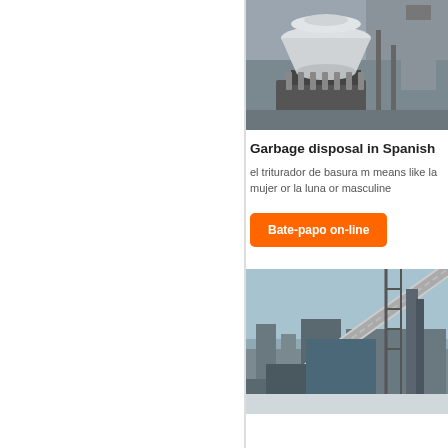[Figure (photo): Industrial cone crusher machine in a factory setting, white/grey metal equipment with springs and mechanical components]
Garbage disposal in Spanish
el triturador de basura m means like la mujer or la luna or masculine
Bate-papo on-line
[Figure (photo): Industrial plant/factory exterior with large conveyor belt structure, scaffolding, and industrial buildings under a blue sky]